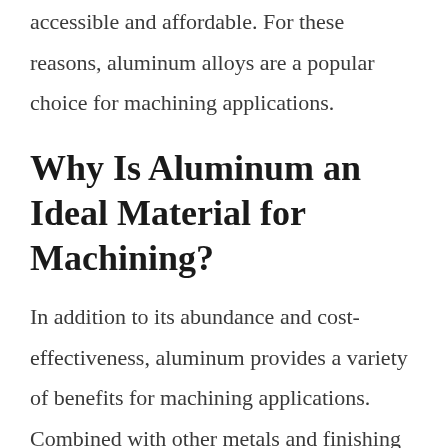accessible and affordable. For these reasons, aluminum alloys are a popular choice for machining applications.
Why Is Aluminum an Ideal Material for Machining?
In addition to its abundance and cost-effectiveness, aluminum provides a variety of benefits for machining applications. Combined with other metals and finishing processes, aluminum alloys are highly customizable to achieve nearly any desired properties. Here are